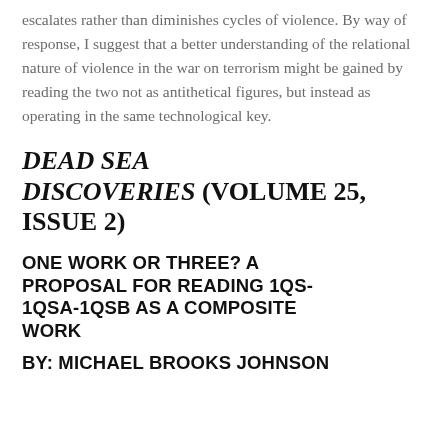escalates rather than diminishes cycles of violence. By way of response, I suggest that a better understanding of the relational nature of violence in the war on terrorism might be gained by reading the two not as antithetical figures, but instead as operating in the same technological key.
DEAD SEA DISCOVERIES (VOLUME 25, ISSUE 2)
ONE WORK OR THREE? A PROPOSAL FOR READING 1QS-1QSA-1QSB AS A COMPOSITE WORK
BY: MICHAEL BROOKS JOHNSON